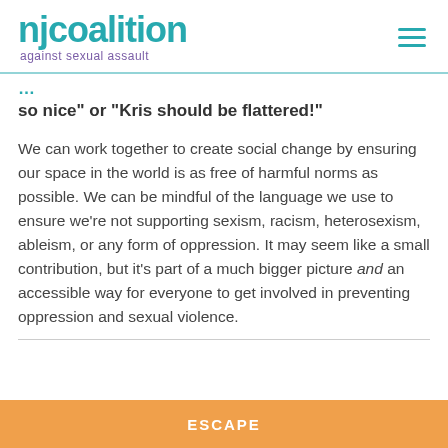[Figure (logo): NJ Coalition Against Sexual Assault logo with teal text and purple subtitle, hamburger menu icon on right]
so nice” or “Kris should be flattered!”
We can work together to create social change by ensuring our space in the world is as free of harmful norms as possible. We can be mindful of the language we use to ensure we’re not supporting sexism, racism, heterosexism, ableism, or any form of oppression. It may seem like a small contribution, but it’s part of a much bigger picture and an accessible way for everyone to get involved in preventing oppression and sexual violence.
ESCAPE